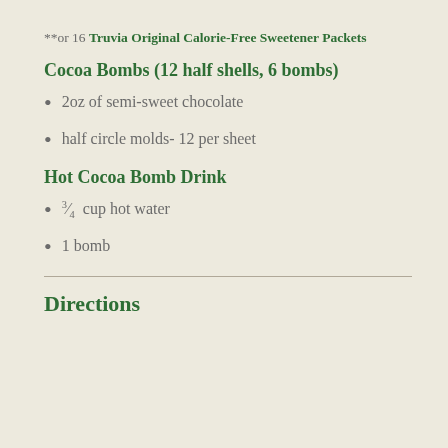**or 16 Truvia Original Calorie-Free Sweetener Packets
Cocoa Bombs (12 half shells, 6 bombs)
2oz of semi-sweet chocolate
half circle molds- 12 per sheet
Hot Cocoa Bomb Drink
3/4 cup hot water
1 bomb
Directions